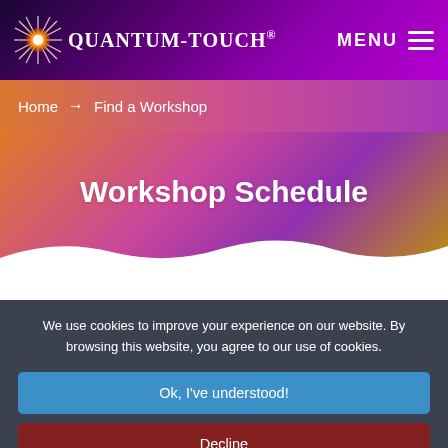QUANTUM-TOUCH®   MENU
Home → Find a Workshop
Workshop Schedule
Find a Quantum-Touch Workshop
We use cookies to improve your experience on our website. By browsing this website, you agree to our use of cookies.
Ok, I've understood!
Decline
More Info